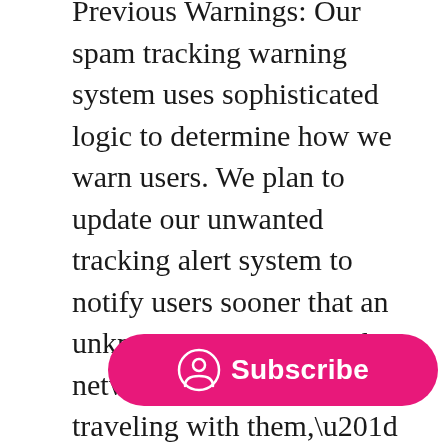Previous Warnings: Our spam tracking warning system uses sophisticated logic to determine how we warn users. We plan to update our unwanted tracking alert system to notify users sooner that an unknown AirTag or Find My network accessory may be traveling with them,” Apple said.
Louder sounds: “Currently, iOS users who receive an unwanted tracking alert can play a sound that will help them locate the unknown AirTag. We will adjust the tone sequence to use more of the louder tones to make an unknown AirTag easier to locate,” Apple said.
Android users are even more at risk
“All progress is good progress, but [there is no] detection built into Android,” wrote [name], director of cybersecurity at the Electronic Frontier Foundation, in response to Apple’s planned updates
[Figure (other): Pink/magenta Subscribe button with person icon, overlaid on article text]